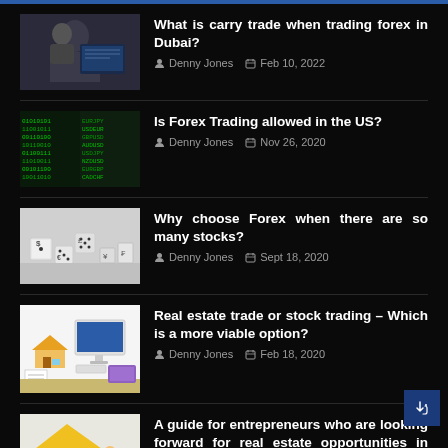What is carry trade when trading forex in Dubai? — Denny Jones, Feb 10, 2022
Is Forex Trading allowed in the US? — Denny Jones, Nov 26, 2020
Why choose Forex when there are so many stocks? — Denny Jones, Sept 18, 2020
Real estate trade or stock trading – Which is a more viable option? — Denny Jones, Feb 18, 2020
A guide for entrepreneurs who are looking forward for real estate opportunities in 2020 — Denny Jones, Jan 17, 2020